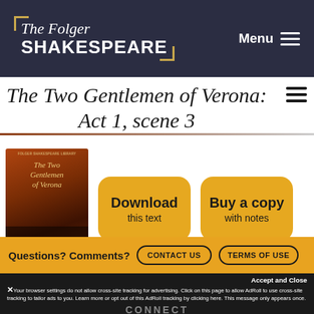The Folger SHAKESPEARE
The Two Gentlemen of Verona: Act 1, scene 3
[Figure (illustration): Book cover of The Two Gentlemen of Verona, Folger Shakespeare Library edition, dark reddish-brown cover with italic script title]
Download this text
Buy a copy with notes
Questions? Comments?
CONTACT US
TERMS OF USE
Accept and Close
✕ Your browser settings do not allow cross-site tracking for advertising. Click on this page to allow AdRoll to use cross-site tracking to tailor ads to you. Learn more or opt out of this AdRoll tracking by clicking here. This message only appears once.
CONNECT